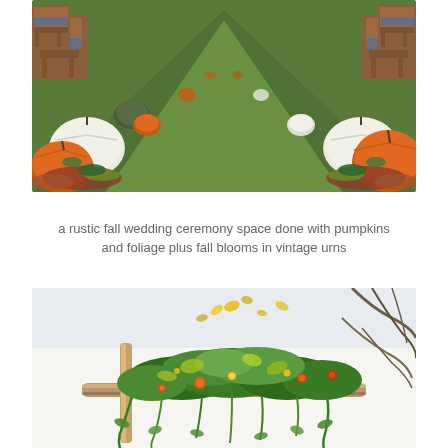[Figure (photo): Outdoor fall wedding ceremony aisle lined with orange and white pumpkins, fall foliage, and wooden chairs on green grass, viewed from the aisle looking toward the altar.]
a rustic fall wedding ceremony space done with pumpkins and foliage plus fall blooms in vintage urns
[Figure (photo): Close-up of a rustic floral arrangement on a wooden structure, featuring lush greenery, yellow leaves, orange blooms, and twisting branches against a light background.]